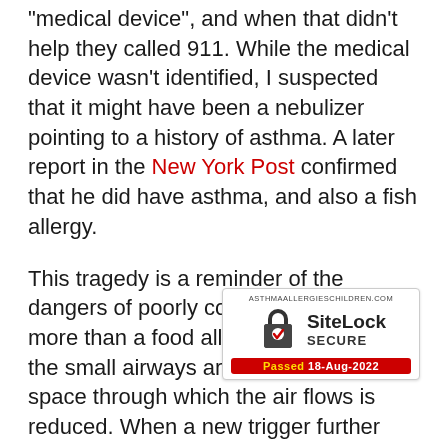"medical device", and when that didn't help they called 911. While the medical device wasn't identified, I suspected that it might have been a nebulizer pointing to a history of asthma. A later report in the New York Post confirmed that he did have asthma, and also a fish allergy.
This tragedy is a reminder of the dangers of poorly controlled asthma more than a food allergy story. When the small airways are inflamed, the space through which the air flows is reduced. When a new trigger further shrinks the diameter due to mucous a[nd spasm, the] volume plummets. When the [airways are small] to a child, there just isn't that much room to constrict.
[Figure (logo): SiteLock SECURE badge showing a padlock icon with a red checkmark, site domain asthmaallergieschilren.com, and 'Passed 18-Aug-2022' in yellow and white text on red background.]